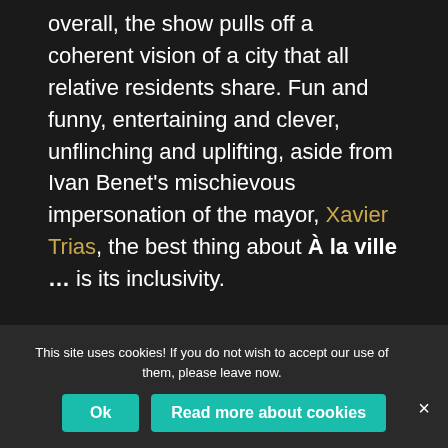overall, the show pulls off a coherent vision of a city that all relative residents share. Fun and funny, entertaining and clever, unflinching and uplifting, aside from Ivan Benet's mischievous impersonation of the mayor, Xavier Trias, the best thing about À la ville … is its inclusivity.
The point
Like all big cities, Barcelona is thoroughly artificial. Just bar crawl the entire metro network and you'll
This site uses cookies! If you do not wish to accept our use of them, please leave now.